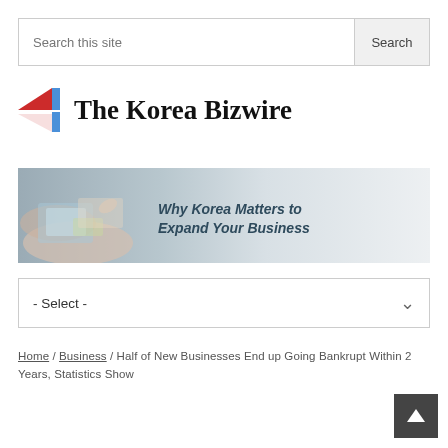Search this site | Search
[Figure (logo): The Korea Bizwire logo with stylized K icon in red and blue]
[Figure (infographic): Banner advertisement: Why Korea Matters to Expand Your Business, with hands holding tablet in background]
- Select -
Home / Business / Half of New Businesses End up Going Bankrupt Within 2 Years, Statistics Show